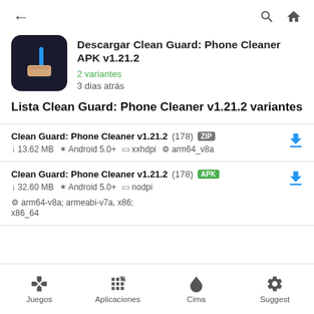← (back) Q (search) (home)
Descargar Clean Guard: Phone Cleaner APK v1.21.2
2 variantes
3 dias atrás
Lista Clean Guard: Phone Cleaner v1.21.2 variantes
Clean Guard: Phone Cleaner v1.21.2 (178) ZIP
↓ 13.62 MB  ✕ Android 5.0+  ⊓ xxhdpi  ⚙ arm64_v8a
Clean Guard: Phone Cleaner v1.21.2 (178) APK
↓ 32.60 MB  ✕ Android 5.0+  ⊓ nodpi  ⚙ arm64-v8a; armeabi-v7a; x86; x86_64
Juegos  Aplicaciones  Cima  Suggest